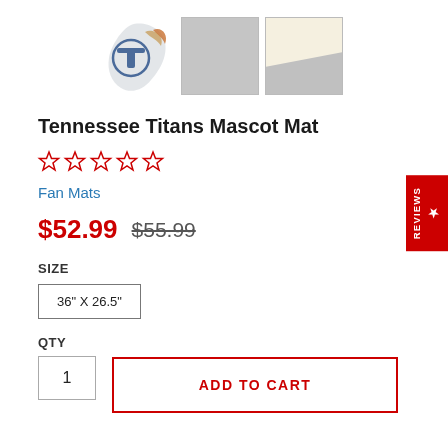[Figure (photo): Tennessee Titans logo (helmet with flames), gray texture swatch, and corner/edge material swatch showing product details]
Tennessee Titans Mascot Mat
[Figure (other): 5 red outline stars (rating stars)]
Fan Mats
$52.99 $55.99
SIZE
36" X 26.5"
QTY
1
ADD TO CART
REVIEWS